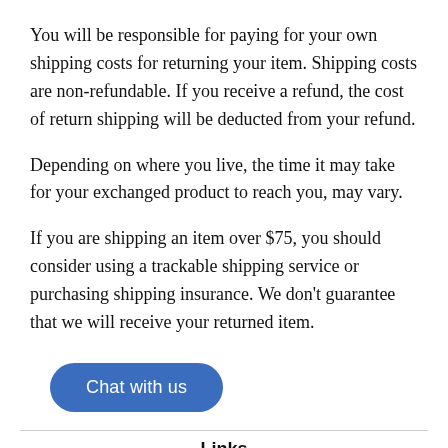You will be responsible for paying for your own shipping costs for returning your item. Shipping costs are non-refundable. If you receive a refund, the cost of return shipping will be deducted from your refund.
Depending on where you live, the time it may take for your exchanged product to reach you, may vary.
If you are shipping an item over $75, you should consider using a trackable shipping service or purchasing shipping insurance. We don’t guarantee that we will receive your returned item.
[Figure (other): Blue rounded rectangle button labeled 'Chat with us']
Links